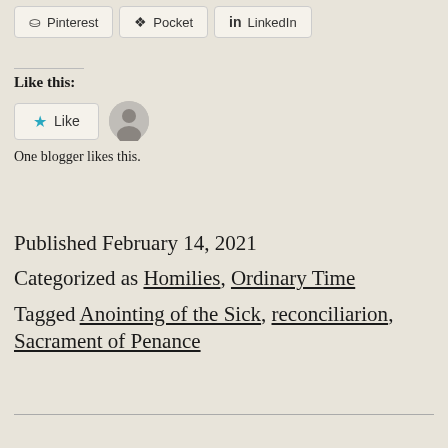[Figure (other): Social share buttons: Pinterest, Pocket, LinkedIn]
Like this:
[Figure (other): Like button with star icon and user avatar]
One blogger likes this.
Published February 14, 2021
Categorized as Homilies, Ordinary Time
Tagged Anointing of the Sick, reconciliarion, Sacrament of Penance